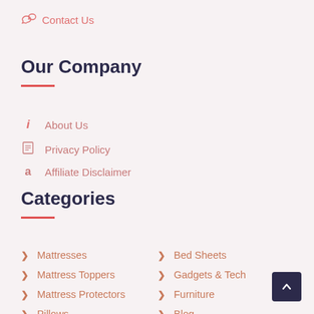Contact Us
Our Company
About Us
Privacy Policy
Affiliate Disclaimer
Categories
Mattresses
Mattress Toppers
Mattress Protectors
Pillows
Duvets
Bed Sheets
Gadgets & Tech
Furniture
Blog